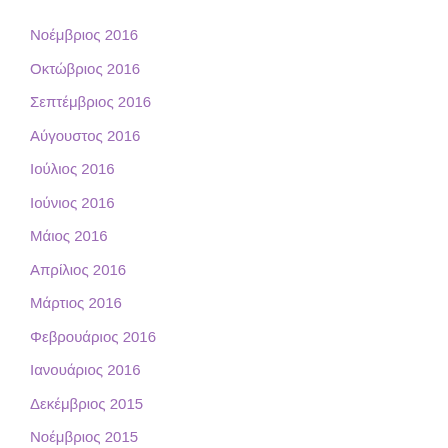Νοέμβριος 2016
Οκτώβριος 2016
Σεπτέμβριος 2016
Αύγουστος 2016
Ιούλιος 2016
Ιούνιος 2016
Μάιος 2016
Απρίλιος 2016
Μάρτιος 2016
Φεβρουάριος 2016
Ιανουάριος 2016
Δεκέμβριος 2015
Νοέμβριος 2015